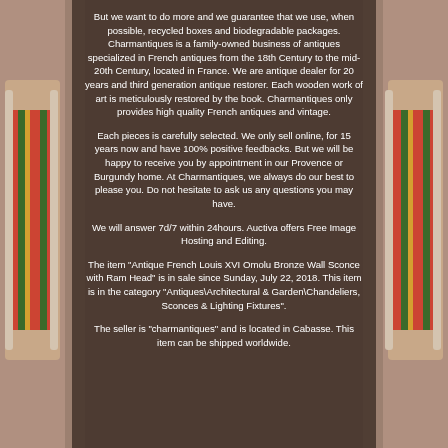[Figure (photo): Photo of two antique French Louis XVI style chairs with white painted frames and plaid/striped upholstery in red, green, and gold, flanking a brown text overlay panel.]
But we want to do more and we guarantee that we use, when possible, recycled boxes and biodegradable packages. Charmantiques is a family-owned business of antiques specialized in French antiques from the 18th Century to the mid-20th Century, located in France. We are antique dealer for 20 years and third generation antique restorer. Each wooden work of art is meticulously restored by the book. Charmantiques only provides high quality French antiques and vintage.
Each pieces is carefully selected. We only sell online, for 15 years now and have 100% positive feedbacks. But we will be happy to receive you by appointment in our Provence or Burgundy home. At Charmantiques, we always do our best to please you. Do not hesitate to ask us any questions you may have.
We will answer 7d/7 within 24hours. Auctiva offers Free Image Hosting and Editing.
The item "Antique French Louis XVI Omolu Bronze Wall Sconce with Ram Head" is in sale since Sunday, July 22, 2018. This item is in the category "Antiques\Architectural & Garden\Chandeliers, Sconces & Lighting Fixtures".
The seller is "charmantiques" and is located in Cabasse. This item can be shipped worldwide.